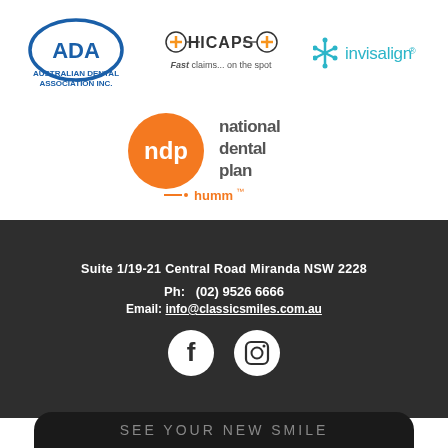[Figure (logo): ADA Australian Dental Association Inc. logo - blue oval with ADA letters and text below]
[Figure (logo): HICAPS logo with plus signs and tagline 'Fast claims... on the spot']
[Figure (logo): Invisalign logo with snowflake-like icon and teal text]
[Figure (logo): National Dental Plan (ndp) logo with orange circle and humm payment logo below]
Suite 1/19-21 Central Road Miranda NSW 2228
Ph: (02) 9526 6666
Email: info@classicsmiles.com.au
[Figure (other): Facebook and Instagram social media icons as white circles on dark background]
SEE YOUR NEW SMILE